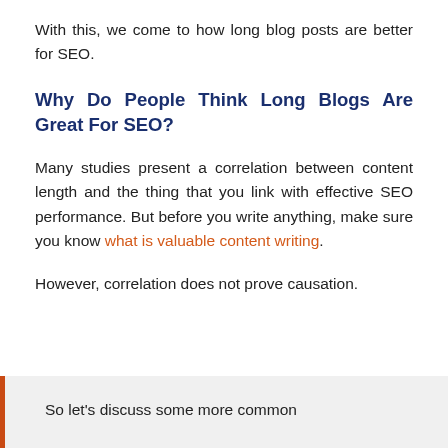With this, we come to how long blog posts are better for SEO.
Why Do People Think Long Blogs Are Great For SEO?
Many studies present a correlation between content length and the thing that you link with effective SEO performance. But before you write anything, make sure you know what is valuable content writing.
However, correlation does not prove causation.
So let's discuss some more common